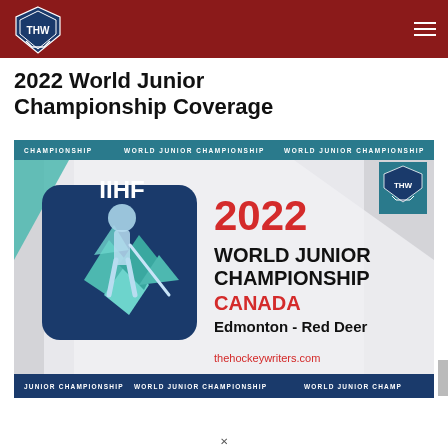THW - The Hockey Writers
2022 World Junior Championship Coverage
[Figure (screenshot): IIHF 2022 World Junior Championship Canada - Edmonton Red Deer banner image with THW logo. Shows IIHF logo, hockey player silhouette, text reading '2022 WORLD JUNIOR CHAMPIONSHIP CANADA Edmonton - Red Deer' and 'thehockeywriters.com' watermark. Decorative banner strips at top and bottom reading 'CHAMPIONSHIP WORLD JUNIOR CHAMPIONSHIP'.]